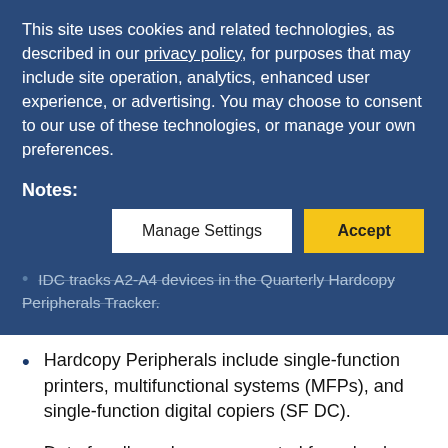This site uses cookies and related technologies, as described in our privacy policy, for purposes that may include site operation, analytics, enhanced user experience, or advertising. You may choose to consent to our use of these technologies, or manage your own preferences.
Notes:
IDC tracks A2-A4 devices in the Quarterly Hardcopy Peripherals Tracker.
Hardcopy Peripherals include single-function printers, multifunctional systems (MFPs), and single-function digital copiers (SF DC).
Data for all vendors are reported for calendar periods.